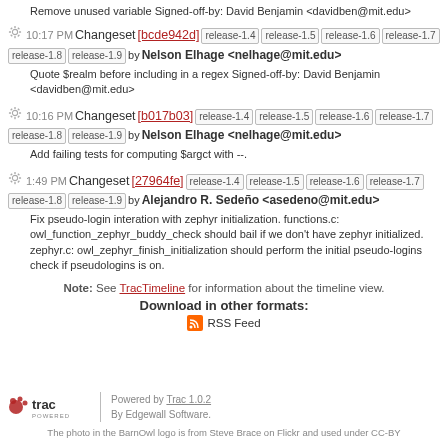Remove unused variable Signed-off-by: David Benjamin <davidben@mit.edu>
10:17 PM Changeset [bcde942d] release-1.4 release-1.5 release-1.6 release-1.7 release-1.8 release-1.9 by Nelson Elhage <nelhage@mit.edu>
Quote $realm before including in a regex Signed-off-by: David Benjamin <davidben@mit.edu>
10:16 PM Changeset [b017b03] release-1.4 release-1.5 release-1.6 release-1.7 release-1.8 release-1.9 by Nelson Elhage <nelhage@mit.edu>
Add failing tests for computing $argct with --.
1:49 PM Changeset [27964fe] release-1.4 release-1.5 release-1.6 release-1.7 release-1.8 release-1.9 by Alejandro R. Sedeño <asedeno@mit.edu>
Fix pseudo-login interation with zephyr initialization. functions.c: owl_function_zephyr_buddy_check should bail if we don't have zephyr initialized. zephyr.c: owl_zephyr_finish_initialization should perform the initial pseudo-logins check if pseudologins is on.
Note: See TracTimeline for information about the timeline view.
Download in other formats:
RSS Feed
Powered by Trac 1.0.2 By Edgewall Software.
The photo in the BarnOwl logo is from Steve Brace on Flickr and used under CC-BY